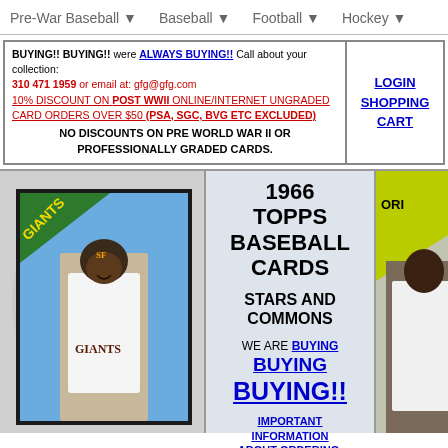Pre-War Baseball ▼   Baseball ▼   Football ▼   Hockey ▼
BUYING!! BUYING!! were ALWAYS BUYING!! Call about your collection: 310 471 1959 or email at: gfg@gfg.com
10% DISCOUNT ON POST WWII ONLINE/INTERNET UNGRADED CARD ORDERS OVER $50 (PSA, SGC, BVG ETC EXCLUDED)
NO DISCOUNTS ON PRE WORLD WAR II OR PROFESSIONALLY GRADED CARDS.
LOGIN SHOPPING CART
1966 TOPPS BASEBALL CARDS
STARS AND COMMONS
WE ARE BUYING
BUYING
BUYING!!
IMPORTANT INFORMATION ABOUT ORDERING,
[Figure (photo): 1966 Topps baseball card of Willie Mays in San Francisco Giants uniform with green diagonal banner reading GIANTS]
[Figure (photo): Partial 1966 Topps baseball card showing Orioles player, partially cropped on right edge]